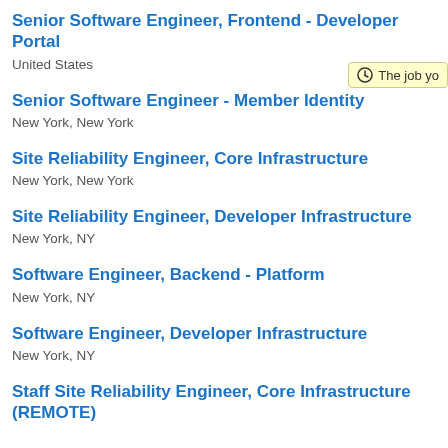Senior Software Engineer, Frontend - Developer Portal
United States
Senior Software Engineer - Member Identity
New York, New York
Site Reliability Engineer, Core Infrastructure
New York, New York
Site Reliability Engineer, Developer Infrastructure
New York, NY
Software Engineer, Backend - Platform
New York, NY
Software Engineer, Developer Infrastructure
New York, NY
Staff Site Reliability Engineer, Core Infrastructure (REMOTE)